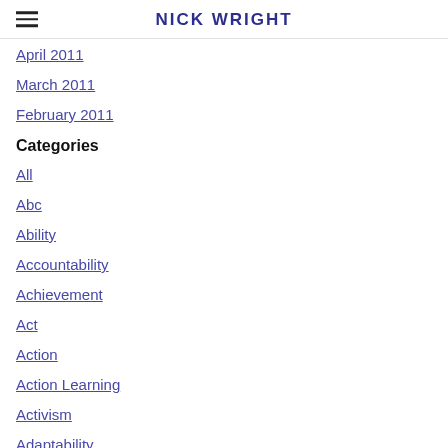NICK WRIGHT
April 2011
March 2011
February 2011
Categories
All
Abc
Ability
Accountability
Achievement
Act
Action
Action Learning
Activism
Adaptability
Adaptive